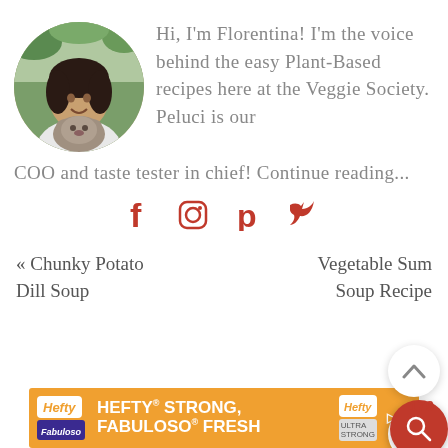[Figure (photo): Circular profile photo of a woman holding a small fluffy dog, outdoors with greenery background]
Hi, I'm Florentina! I'm the voice behind the easy Plant-Based recipes here at the Veggie Society. Peluci is our COO and taste tester in chief! Continue reading...
[Figure (infographic): Social media icons row: Facebook (f), Instagram (circle), Pinterest (p), Twitter (bird) — all in red/orange]
« Chunky Potato Dill Soup
Vegetable Summer Soup Recipe
[Figure (infographic): Floating UI buttons: chevron up, heart with count 179, red search button]
[Figure (infographic): Ad banner: Hefty brand — HEFTY STRONG, FABULOSO FRESH — orange background]